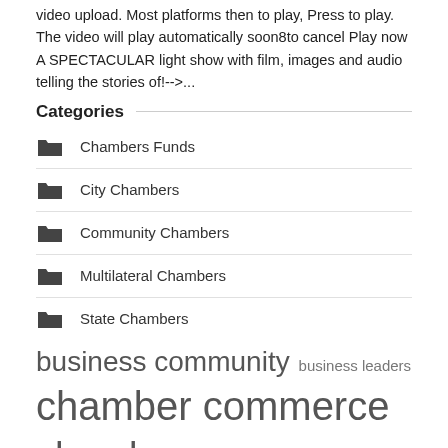video upload. Most platforms then to play, Press to play. The video will play automatically soon8to cancel Play now A SPECTACULAR light show with film, images and audio telling the stories of!-->...
Categories
Chambers Funds
City Chambers
Community Chambers
Multilateral Chambers
State Chambers
business community  business leaders
chamber commerce
chambers commerce  city chambers
city council  executive director  glasgow city  high school